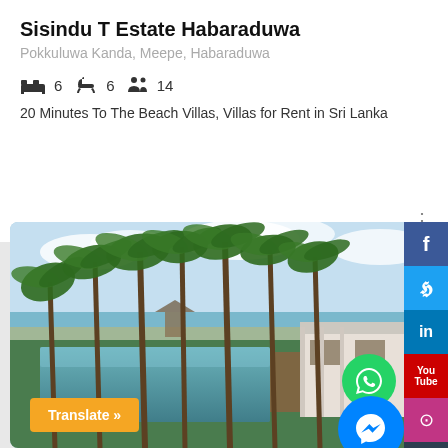Sisindu T Estate Habaraduwa
Pokkuluwa Kanda, Meepe, Habaraduwa
6  6  14
20 Minutes To The Beach Villas, Villas for Rent in Sri Lanka
[Figure (photo): Outdoor photo of a Sri Lankan villa estate with a long infinity pool in the foreground, tall coconut palm trees lining the beach in the background, and a white single-story building on the right. Blue sky with clouds visible through the palms.]
Translate »